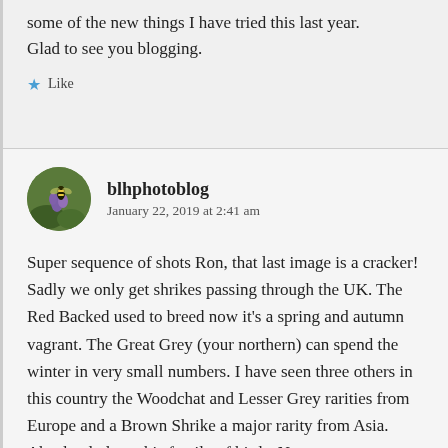some of the new things I have tried this last year. Glad to see you blogging.
Like
blhphotoblog
January 22, 2019 at 2:41 am
Super sequence of shots Ron, that last image is a cracker! Sadly we only get shrikes passing through the UK. The Red Backed used to breed now it's a spring and autumn vagrant. The Great Grey (your northern) can spend the winter in very small numbers. I have seen three others in this country the Woodchat and Lesser Grey rarities from Europe and a Brown Shrike a major rarity from Asia. Absolutely love this family of birds. No